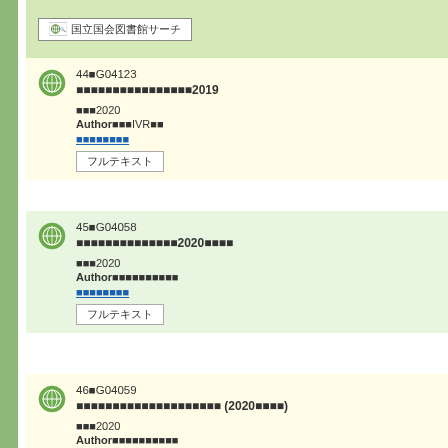[Figure (logo): National Diet Library Search button/logo with globe icon]
44■G04123
■■■■■■■■■■■■■■■■2019
■■■2020
Author■■■IVR■■
■■■■■■■■
Fulltext button
45■G04058
■■■■■■■■■■■■■■2020■■■■
■■■2020
Author■■■■■■■■■■
■■■■■■■■
Fulltext button
46■G04059
■■■■■■■■■■■■■■■■■■■■ (2020■■■■)
■■■2020
Author■■■■■■■■■■